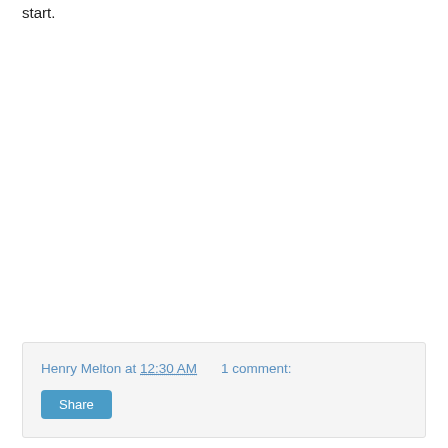start.
Henry Melton at 12:30 AM   1 comment: